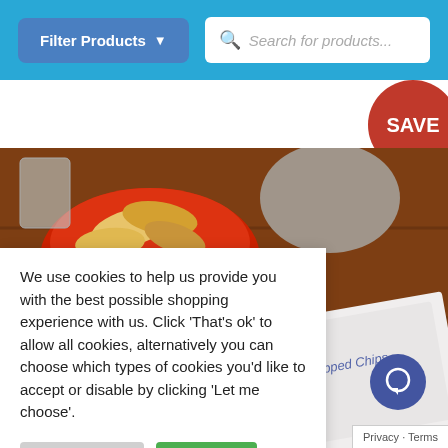[Figure (screenshot): Website header with blue background containing a 'Filter Products' dropdown button and a search box with placeholder 'Search for products...']
[Figure (infographic): Product tags row: orange 'Extra' badge, yellow 'GF' circle, green 'V' circle, and red 'SAVE' badge on right]
[Figure (photo): Product photo background showing chips in a red bowl on a wooden surface with a product packet visible]
We use cookies to help us provide you with the best possible shopping experience with us. Click ‘That’s ok’ to allow all cookies, alternatively you can choose which types of cookies you'd like to accept or disable by clicking ‘Let me choose’.
Let me choose
That's ok
Privacy - Terms